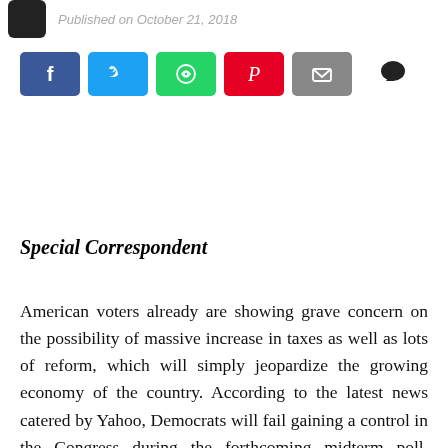Published on October 21, 2018
[Figure (infographic): Social sharing buttons: Facebook (blue), Twitter (light blue), WhatsApp (green), Pinterest (red), Email (grey), and a comment speech bubble icon]
Special Correspondent
American voters already are showing grave concern on the possibility of massive increase in taxes as well as lots of reform, which will simply jeopardize the growing economy of the country. According to the latest news catered by Yahoo, Democrats will fail gaining a control in the Congress during the forthcoming midterm poll. Commenting on this latest forecast, a specialist who closely monitors elections in the US said, “If people like the economy and jobs they’ll vote Republican. If